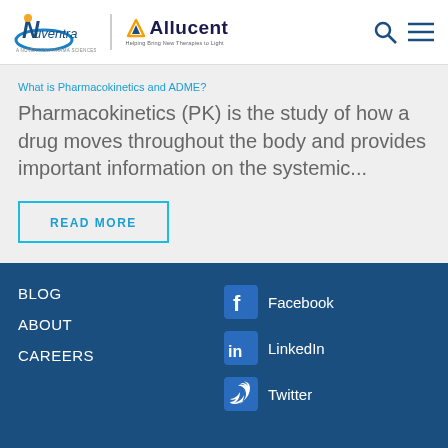Nuventra | Allucent — Helping Bring New Therapies to Light
What is Pharmacokinetics and ADME?
Pharmacokinetics (PK) is the study of how a drug moves throughout the body and provides important information on the systemic...
READ MORE
BLOG
ABOUT
CAREERS
Facebook
LinkedIn
Twitter